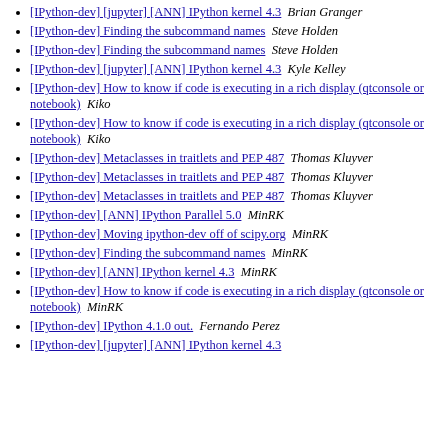[IPython-dev] [jupyter] [ANN] IPython kernel 4.3  Brian Granger
[IPython-dev] Finding the subcommand names  Steve Holden
[IPython-dev] Finding the subcommand names  Steve Holden
[IPython-dev] [jupyter] [ANN] IPython kernel 4.3  Kyle Kelley
[IPython-dev] How to know if code is executing in a rich display (qtconsole or notebook)  Kiko
[IPython-dev] How to know if code is executing in a rich display (qtconsole or notebook)  Kiko
[IPython-dev] Metaclasses in traitlets and PEP 487  Thomas Kluyver
[IPython-dev] Metaclasses in traitlets and PEP 487  Thomas Kluyver
[IPython-dev] Metaclasses in traitlets and PEP 487  Thomas Kluyver
[IPython-dev] [ANN] IPython Parallel 5.0  MinRK
[IPython-dev] Moving ipython-dev off of scipy.org  MinRK
[IPython-dev] Finding the subcommand names  MinRK
[IPython-dev] [ANN] IPython kernel 4.3  MinRK
[IPython-dev] How to know if code is executing in a rich display (qtconsole or notebook)  MinRK
[IPython-dev] IPython 4.1.0 out.  Fernando Perez
[IPython-dev] [jupyter] [ANN] IPython kernel 4.3